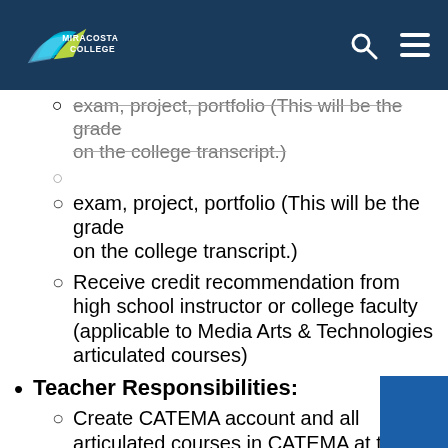MiraCosta College
exam, project, portfolio (This will be the grade on the college transcript.)
Receive credit recommendation from high school instructor or college faculty (applicable to Media Arts & Technologies articulated courses)
Teacher Responsibilities:
Create CATEMA account and all articulated courses in CATEMA at the beginning of the school year
Ensure students complete the Spring term credit application and CATEMA registration steps each year they are enrolled in an articulated class